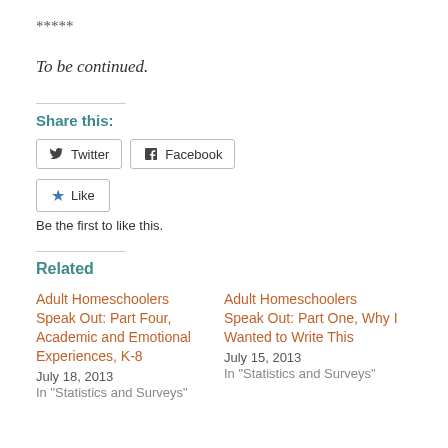*****
To be continued.
Share this:
[Figure (other): Twitter and Facebook share buttons]
[Figure (other): Like button with star icon]
Be the first to like this.
Related
Adult Homeschoolers Speak Out: Part Four, Academic and Emotional Experiences, K-8
July 18, 2013
In "Statistics and Surveys"
Adult Homeschoolers Speak Out: Part One, Why I Wanted to Write This
July 15, 2013
In "Statistics and Surveys"